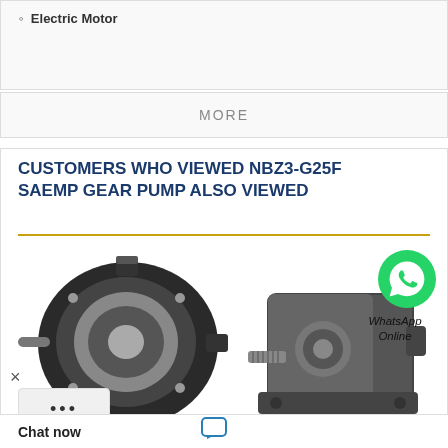Electric Motor
MORE
CUSTOMERS WHO VIEWED NBZ3-G25F SAEMP GEAR PUMP ALSO VIEWED
[Figure (photo): Two industrial gear pumps side by side. Left pump is a smaller black gear pump with shaft and mounting holes. Right pump is a larger grey/dark gear pump with splined shaft. A WhatsApp phone icon and 'WhatsApp Online' text overlay appears on the right side.]
25F SAEMP Gear Pump
-G25F SAEMP Gear
Chat now